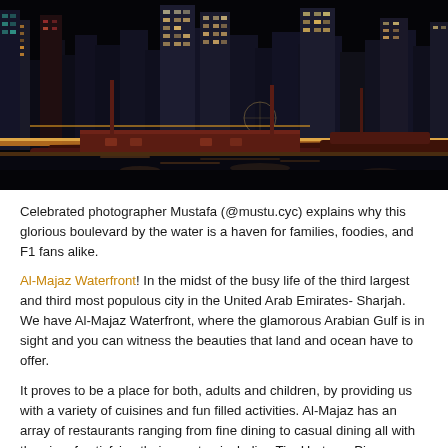[Figure (photo): Night photograph of Al-Majaz Waterfront in Sharjah, UAE. Traditional wooden dhow boats moored in the foreground on dark water with reflections. Behind them, brightly illuminated modern high-rise towers glow against a dark night sky. Orange and white lights line the waterfront boulevard.]
Celebrated photographer Mustafa (@mustu.cyc) explains why this glorious boulevard by the water is a haven for families, foodies, and F1 fans alike.
Al-Majaz Waterfront! In the midst of the busy life of the third largest and third most populous city in the United Arab Emirates- Sharjah. We have Al-Majaz Waterfront, where the glamorous Arabian Gulf is in sight and you can witness the beauties that land and ocean have to offer.
It proves to be a place for both, adults and children, by providing us with a variety of cuisines and fun filled activities. Al-Majaz has an array of restaurants ranging from fine dining to casual dining all with the aim of satisfying their guests - including Tim Hortons, Pizzaro, Shakespeare and co